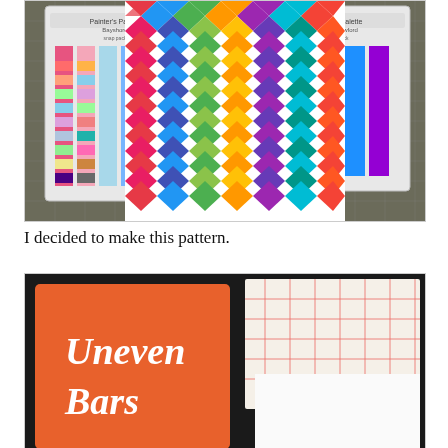[Figure (photo): Photo of colorful chevron/zigzag patterned fabric with two fabric color swatch booklets (Painter's Palette) on a cutting mat]
I decided to make this pattern.
[Figure (photo): Photo of an orange booklet titled 'Uneven Bars' on a dark surface with a cutting mat and ruler visible in the background]